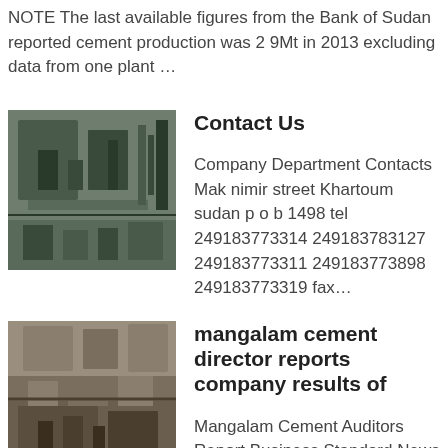NOTE The last available figures from the Bank of Sudan reported cement production was 2 9Mt in 2013 excluding data from one plant …
[Figure (photo): Industrial cement plant machinery interior photograph]
Contact Us
Company Department Contacts Mak nimir street Khartoum sudan p o b 1498 tel 249183773314 249183783127 249183773311 249183773898 249183773319 fax…
[Figure (photo): Industrial cement facility construction site photograph]
mangalam cement director reports company results of
Mangalam Cement Auditors Report Business Standard News To The Members of Mangalam Cement Limited Report on the Ind AS Financial Statements We have audited the accompanying Ind AS financial Statement of Mangalam Cement Limited the Company aust